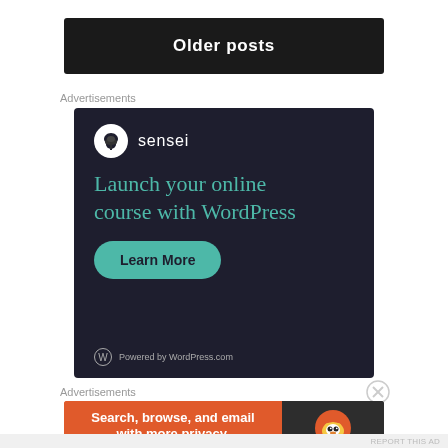Older posts
Advertisements
[Figure (screenshot): Sensei advertisement: dark navy background, sensei logo (bonsai tree icon in white circle), teal text 'Launch your online course with WordPress', teal 'Learn More' rounded button, 'Powered by WordPress.com' footer]
Advertisements
[Figure (screenshot): DuckDuckGo advertisement: orange left panel with 'Search, browse, and email with more privacy.' and 'All in One Free App' badge, dark right panel with DuckDuckGo duck logo and DuckDuckGo text]